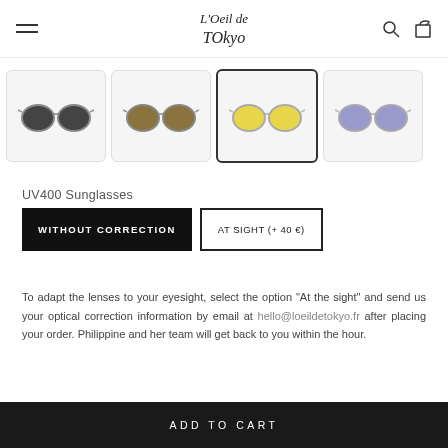L'Oeil de Tokyo — navigation header with hamburger menu, logo, search and cart icons
[Figure (photo): Four thumbnail images of sunglasses variants: dark grey lenses, olive/brown lenses, yellow lenses (selected/highlighted), and light purple/lavender lenses]
UV400 Sunglasses
WITHOUT CORRECTION | AT SIGHT (+ 40 €)
To adapt the lenses to your eyesight, select the option "At the sight" and send us your optical correction information by email at hello@loeildetokyo.fr after placing your order. Philippine and her team will get back to you within the hour.
ADD TO CART